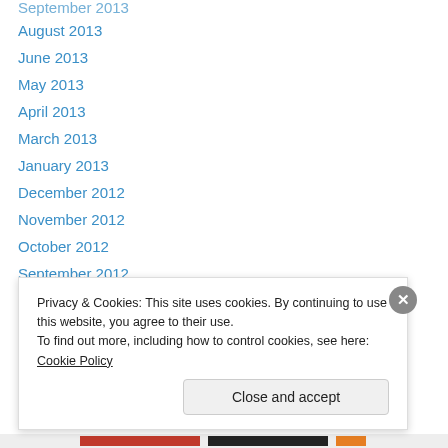September 2013
August 2013
June 2013
May 2013
April 2013
March 2013
January 2013
December 2012
November 2012
October 2012
September 2012
August 2012
July 2012
June 2012
Privacy & Cookies: This site uses cookies. By continuing to use this website, you agree to their use.
To find out more, including how to control cookies, see here: Cookie Policy